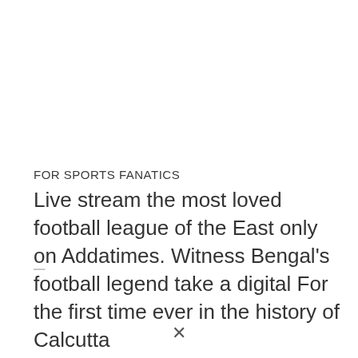FOR SPORTS FANATICS
Live stream the most loved football league of the East only on Addatimes. Witness Bengal's football legend take a digital For the first time ever in the history of Calcutta –...